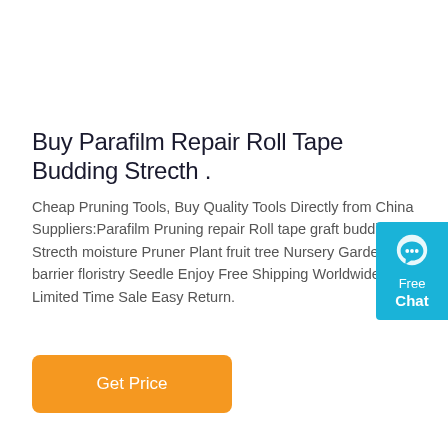Buy Parafilm Repair Roll Tape Budding Strecth .
Cheap Pruning Tools, Buy Quality Tools Directly from China Suppliers:Parafilm Pruning repair Roll tape graft budding Strecth moisture Pruner Plant fruit tree Nursery Garden barrier floristry Seedle Enjoy Free Shipping Worldwide! Limited Time Sale Easy Return.
[Figure (other): Orange 'Get Price' button with rounded corners]
[Figure (other): Teal/blue live chat widget with chat bubble icon, 'Free' label and 'Chat' label in bold white text]